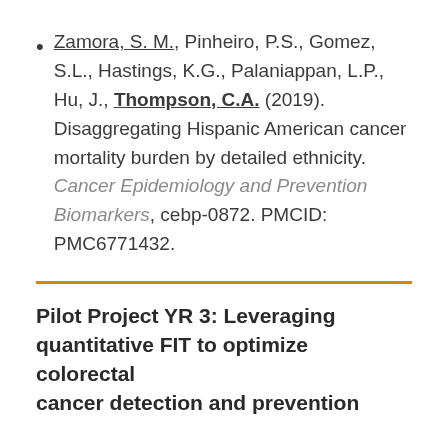Zamora, S. M., Pinheiro, P.S., Gomez, S.L., Hastings, K.G., Palaniappan, L.P., Hu, J., Thompson, C.A. (2019). Disaggregating Hispanic American cancer mortality burden by detailed ethnicity. Cancer Epidemiology and Prevention Biomarkers, cebp-0872. PMCID: PMC6771432.
Pilot Project YR 3: Leveraging quantitative FIT to optimize colorectal cancer detection and prevention